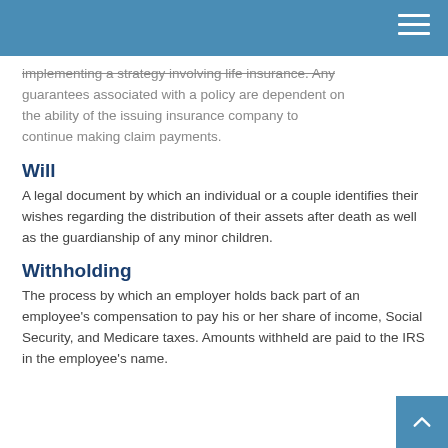implementing a strategy involving life insurance. Any guarantees associated with a policy are dependent on the ability of the issuing insurance company to continue making claim payments.
Will
A legal document by which an individual or a couple identifies their wishes regarding the distribution of their assets after death as well as the guardianship of any minor children.
Withholding
The process by which an employer holds back part of an employee's compensation to pay his or her share of income, Social Security, and Medicare taxes. Amounts withheld are paid to the IRS in the employee's name.